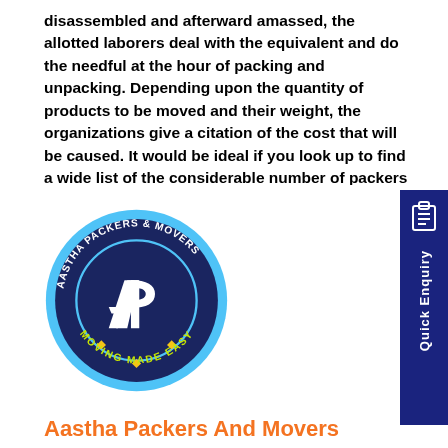disassembled and afterward amassed, the allotted laborers deal with the equivalent and do the needful at the hour of packing and unpacking. Depending upon the quantity of products to be moved and their weight, the organizations give a citation of the cost that will be caused. It would be ideal if you look up to find a wide list of the considerable number of packers and movers Prayagraj.
[Figure (logo): Aastha Packers & Movers circular logo with dark navy blue background, light blue outer ring, white 'AP' monogram in center, text 'AASTHA PACKERS & MOVERS' around the top arc and 'MOVING MADE EASY' along the bottom arc in yellow/green, with diamond decorations.]
Aastha Packers And Movers